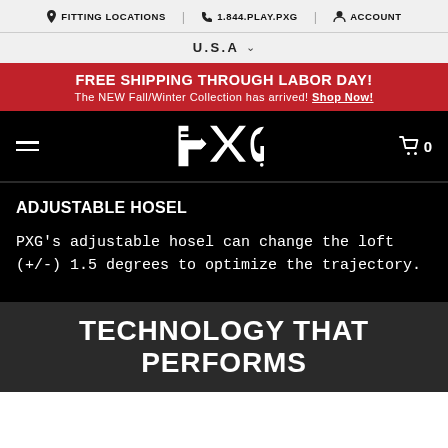FITTING LOCATIONS | 1.844.PLAY.PXG | ACCOUNT
U.S.A
FREE SHIPPING THROUGH LABOR DAY! The NEW Fall/Winter Collection has arrived! Shop Now!
[Figure (logo): PXG brand logo in white on black background, with hamburger menu on left and cart icon showing 0 on right]
ADJUSTABLE HOSEL
PXG's adjustable hosel can change the loft (+/-) 1.5 degrees to optimize the trajectory.
TECHNOLOGY THAT PERFORMS